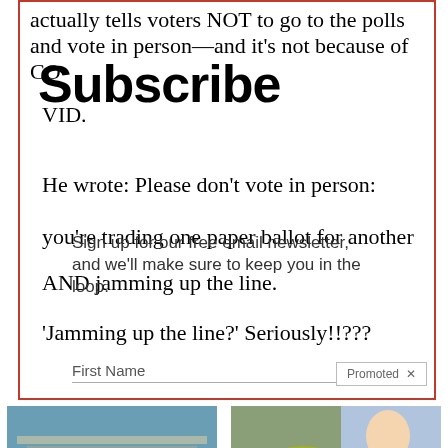actually tells voters NOT to go to the polls and vote in person—and it's not because of COVID.
Subscribe
Sign up for our free email newsletter, and we'll make sure to keep you in the loop.
He wrote: Please don't vote in person: you're trading one paper ballot for another AND jamming up the line.
'Jamming up the line?' Seriously!!???
First Name
Promoted
[Figure (photo): Aerial photo of cruise ships docked at port]
Actual Pictures From Cruise Ships That Will Make You Think Twice Before Booking A Trip
105,313
[Figure (photo): Woman in white lab coat next to a bowl of olive oil, video thumbnail]
The Truth About Your Liver And Belly Fat
6,998